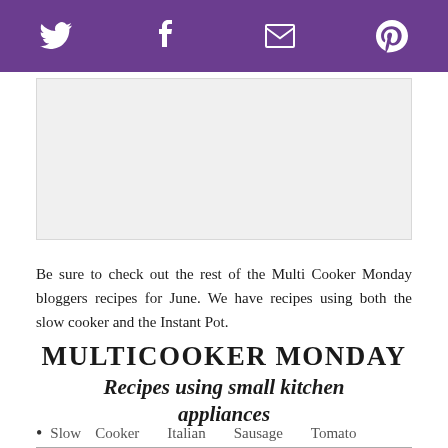[Social share bar with Twitter, Facebook, Email, Pinterest icons]
[Figure (other): Advertisement placeholder box with light gray background]
Be sure to check out the rest of the Multi Cooker Monday bloggers recipes for June. We have recipes using both the slow cooker and the Instant Pot.
MULTICOOKER MONDAY
Recipes using small kitchen appliances
Slow Cooker Italian Sausage Tomato